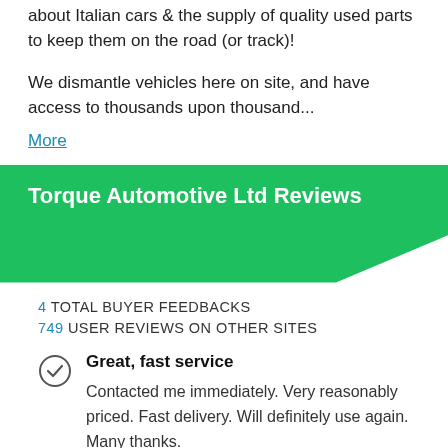about Italian cars & the supply of quality used parts to keep them on the road (or track)!
We dismantle vehicles here on site, and have access to thousands upon thousand...
More
Torque Automotive Ltd Reviews
4 TOTAL BUYER FEEDBACKS
749 USER REVIEWS ON OTHER SITES
Great, fast service
Contacted me immediately. Very reasonably priced. Fast delivery. Will definitely use again. Many thanks.
Anonymous - 26/03/2014